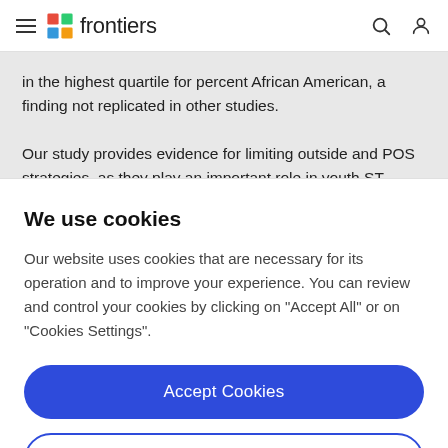frontiers
in the highest quartile for percent African American, a finding not replicated in other studies.

Our study provides evidence for limiting outside and POS strategies, as they play an important role in youth ST
We use cookies
Our website uses cookies that are necessary for its operation and to improve your experience. You can review and control your cookies by clicking on "Accept All" or on "Cookies Settings".